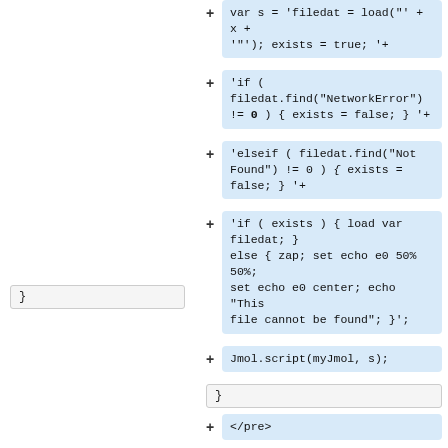var s = 'filedat = load("' + x + '"); exists = true; '+
'if ( filedat.find("NetworkError") != 0 ) { exists = false; } '+
'elseif ( filedat.find("Not Found") != 0 ) { exists = false; } '+
'if ( exists ) { load var filedat; } else { zap; set echo e0 50% 50%; set echo e0 center; echo "This file cannot be found"; }';
Jmol.script(myJmol, s);
}
}
</pre>
And the HTML element calling it:
<pre><input type="button" onClick="loadFile('test.mol')" value="load it">